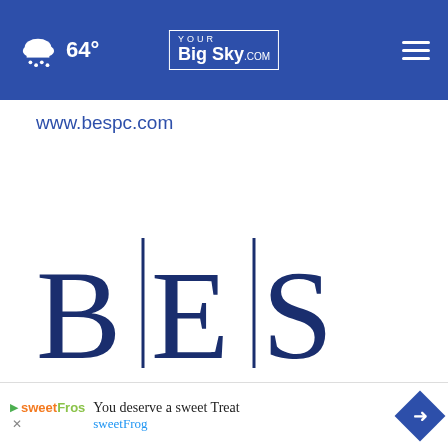64° yourBigSky.com
www.bespc.com
[Figure (logo): BES logo with serif letters B, E, S separated by vertical bars in dark navy blue]
Search by keyword SEARCH
[Figure (infographic): Ad banner: You deserve a sweet Treat sweetFrog]